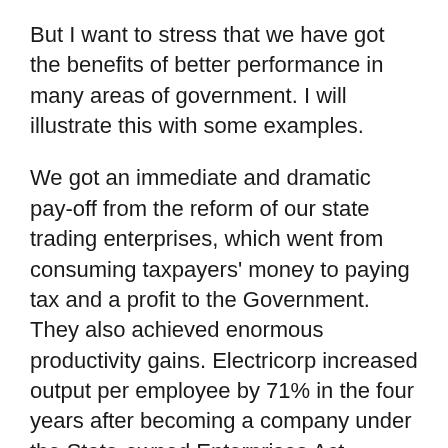But I want to stress that we have got the benefits of better performance in many areas of government. I will illustrate this with some examples.
We got an immediate and dramatic pay-off from the reform of our state trading enterprises, which went from consuming taxpayers' money to paying tax and a profit to the Government. They also achieved enormous productivity gains. Electricorp increased output per employee by 71% in the four years after becoming a company under the State-owned Enterprises Act.
Citizens also benefited from improved services. The time it took to have a new phone installed by Telecom went from 6-8 weeks to 48 hours in the five years after it ceased to be part of the old Post Office department and became a company